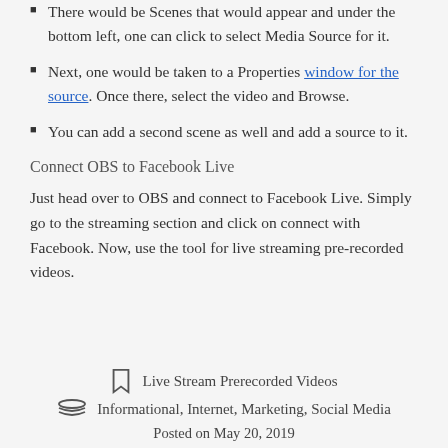There would be Scenes that would appear and under the bottom left, one can click to select Media Source for it.
Next, one would be taken to a Properties window for the source. Once there, select the video and Browse.
You can add a second scene as well and add a source to it.
Connect OBS to Facebook Live
Just head over to OBS and connect to Facebook Live. Simply go to the streaming section and click on connect with Facebook. Now, use the tool for live streaming pre-recorded videos.
Live Stream Prerecorded Videos
Informational, Internet, Marketing, Social Media
Posted on May 20, 2019